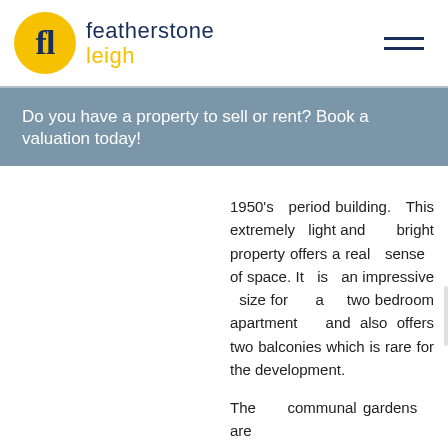[Figure (logo): Featherstone Leigh logo: yellow circle with 'fl' monogram in dark navy, text 'featherstone leigh' with 'leigh' in yellow]
Do you have a property to sell or rent? Book a valuation today!
1950's period building. This extremely light and bright property offers a real sense of space. It is an impressive size for a two bedroom apartment and also offers two balconies which is rare for the development.
The communal gardens are